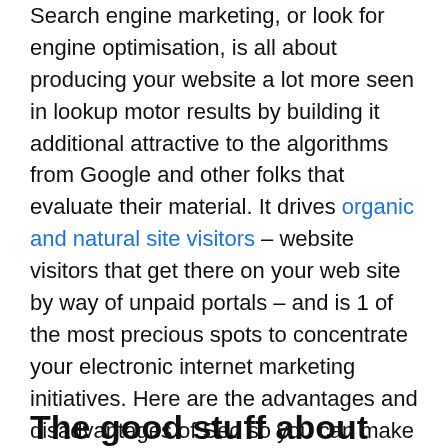Search engine marketing, or look for engine optimisation, is all about producing your website a lot more seen in lookup motor results by building it additional attractive to the algorithms from Google and other folks that evaluate their material. It drives organic and natural site visitors – website visitors that get there on your web site by way of unpaid portals – and is 1 of the most precious spots to concentrate your electronic internet marketing initiatives. Here are the advantages and disadvantages of Seo so you can make educated decisions about when to optimise written content and when to pay back.
The good stuff about